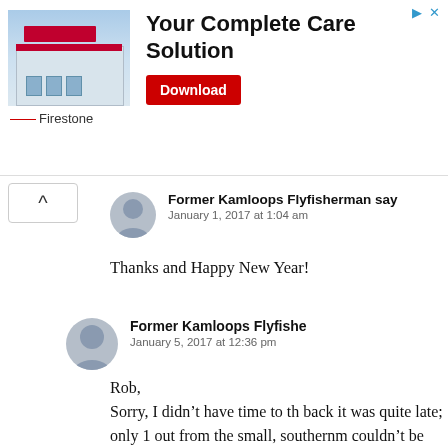[Figure (infographic): Advertisement banner for Firestone showing a building photo, headline 'Your Complete Care Solution', a Download button, and the Firestone brand name with red dash logo.]
Former Kamloops Flyfisherman says
January 1, 2017 at 1:04 am
Thanks and Happy New Year!
Former Kamloops Flyfishe...
January 5, 2017 at 12:36 pm
Rob,
Sorry, I didn't have time to th... back it was quite late; only 1... out from the small, southernm... couldn't be more help!